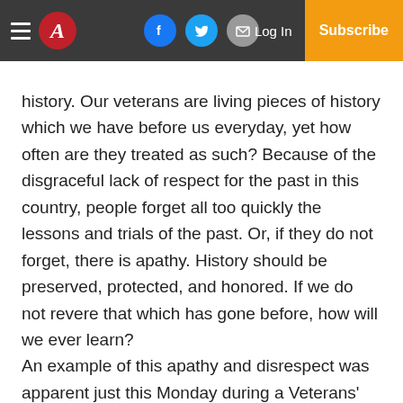Navigation bar with hamburger menu, The Atlantic logo, Facebook, Twitter, Email share buttons, Log In link, and Subscribe button
history. Our veterans are living pieces of history which we have before us everyday, yet how often are they treated as such? Because of the disgraceful lack of respect for the past in this country, people forget all too quickly the lessons and trials of the past. Or, if they do not forget, there is apathy. History should be preserved, protected, and honored. If we do not revere that which has gone before, how will we ever learn?
An example of this apathy and disrespect was apparent just this Monday during a Veterans' Day presentation I attended. Although the majority of